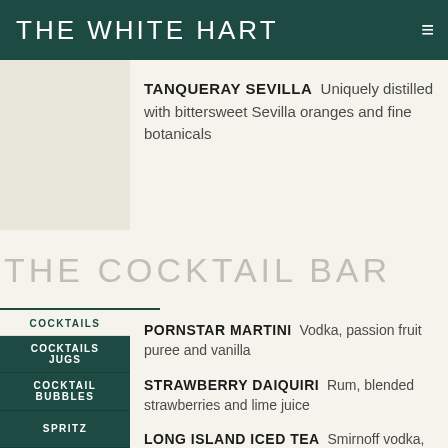THE WHITE HART
TANQUERAY SEVILLA  Uniquely distilled with bittersweet Sevilla oranges and fine botanicals
THE COCKTAIL BAR
COCKTAILS
COCKTAILS JUGS
COCKTAIL BUBBLES
SPRITZ
PORNSTAR MARTINI  Vodka, passion fruit puree and vanilla
STRAWBERRY DAIQUIRI  Rum, blended strawberries and lime juice
LONG ISLAND ICED TEA  Smirnoff vodka, Jose Cuervo tequila, Bacardi Carta Blanca rum, Cointreau and Gordon's gin topped with cola